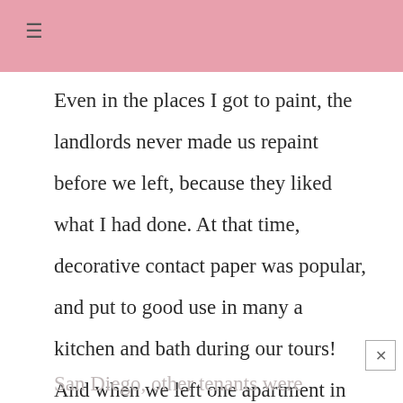≡
Even in the places I got to paint, the landlords never made us repaint before we left, because they liked what I had done. At that time, decorative contact paper was popular, and put to good use in many a kitchen and bath during our tours! And when we left one apartment in
San Diego, other tenants were